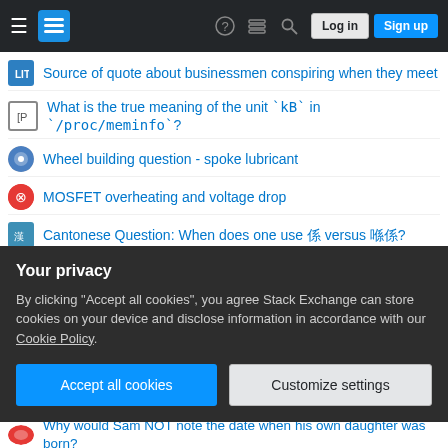Stack Exchange navigation bar with Log in and Sign up buttons
Source of quote about businessmen conspiring when they meet
What is the true meaning of the unit `kB` in `/proc/meminfo`?
Wheel building question - spoke lubricant
MOSFET overheating and voltage drop
Cantonese Question: When does one use 係 versus 喺係?
Official recommendations for how early to reach the airport
Can Monks Use Dex to grapple and shove under the One D&D Character Origins UA?
Can you use SQL in QGIS?
How does the path connectedness in a topology book relate to the
Your privacy
By clicking "Accept all cookies", you agree Stack Exchange can store cookies on your device and disclose information in accordance with our Cookie Policy.
Why would Sam NOT note the date when his own daughter was born?